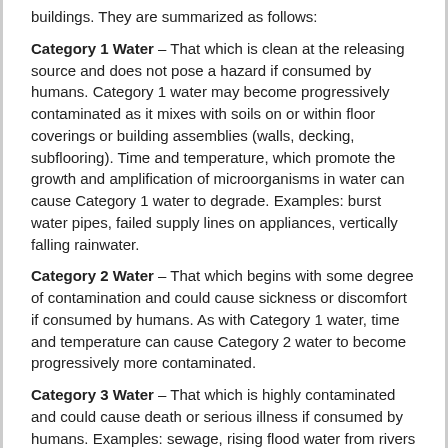buildings. They are summarized as follows:
Category 1 Water – That which is clean at the releasing source and does not pose a hazard if consumed by humans. Category 1 water may become progressively contaminated as it mixes with soils on or within floor coverings or building assemblies (walls, decking, subflooring). Time and temperature, which promote the growth and amplification of microorganisms in water can cause Category 1 water to degrade. Examples: burst water pipes, failed supply lines on appliances, vertically falling rainwater.
Category 2 Water – That which begins with some degree of contamination and could cause sickness or discomfort if consumed by humans. As with Category 1 water, time and temperature can cause Category 2 water to become progressively more contaminated.
Category 3 Water – That which is highly contaminated and could cause death or serious illness if consumed by humans. Examples: sewage, rising flood water from rivers and streams, ground surface water flowing horizontally into homes. There are two ways in which water enters a building as a result of wind storm damage: